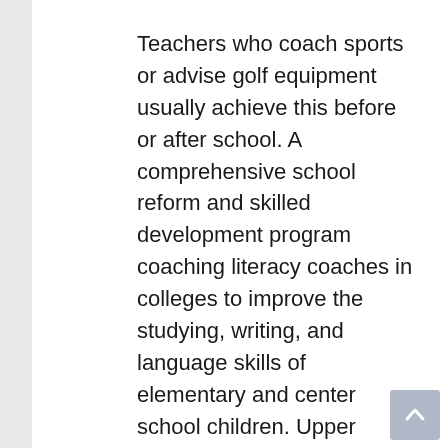Teachers who coach sports or advise golf equipment usually achieve this before or after school. A comprehensive school reform and skilled development program coaching literacy coaches in colleges to improve the studying, writing, and language skills of elementary and center school children. Upper secondary education offered throughout 2 full-time years by the German vocational high-schools “Berufliches Gymnasium” prepares children to get a vocational qualification for a talented work as certified workers “Fachgebundene Hochschulreife”. Such qualification permits them to get a job in a career requiring a proper qualification. The identical time, such qualification can lead right into a college